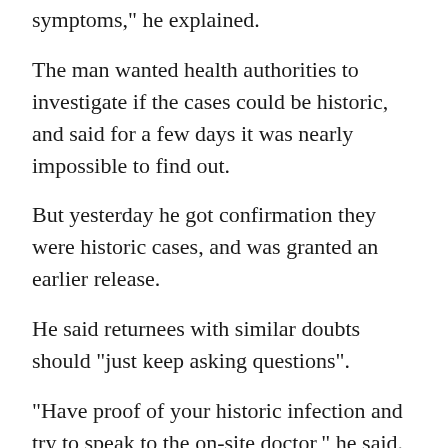For the last 10 days or so, none of us have had symptoms," he explained.
The man wanted health authorities to investigate if the cases could be historic, and said for a few days it was nearly impossible to find out.
But yesterday he got confirmation they were historic cases, and was granted an earlier release.
He said returnees with similar doubts should "just keep asking questions".
"Have proof of your historic infection and try to speak to the on-site doctor," he said.
The prime minister will deliver a speech this morning where she is expected to lay out a clear timeline for the border re-opening.
A staged timeline was outlined late last year, but